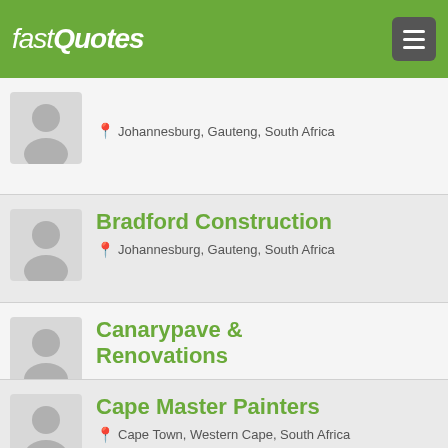fastQuotes
Johannesburg, Gauteng, South Africa
Bradford Construction
Johannesburg, Gauteng, South Africa
Canarypave & Renovations
Pretoria, Gauteng, South Africa
Cape Master Painters
Cape Town, Western Cape, South Africa